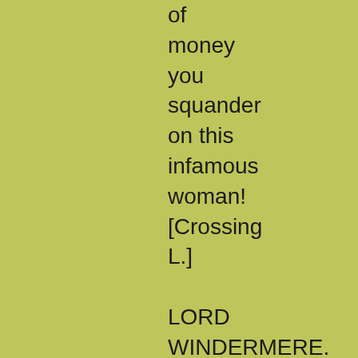of money you squander on this infamous woman! [Crossing L.]

LORD WINDERMERE. Margaret! don't talk like that of Mrs. Erlynne